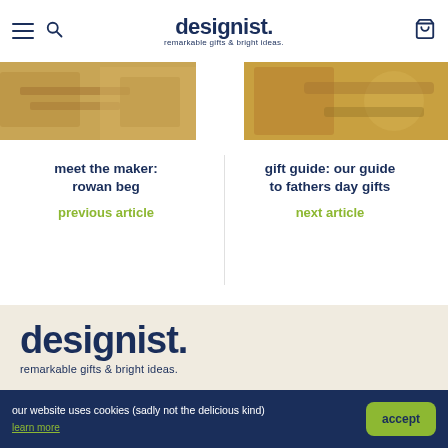designist. remarkable gifts & bright ideas.
[Figure (photo): Cropped product/workshop photo on the left side]
[Figure (photo): Cropped product/workshop photo on the right side]
meet the maker: rowan beg
previous article
gift guide: our guide to fathers day gifts
next article
[Figure (logo): designist. remarkable gifts & bright ideas. logo in dark blue on beige background]
newsletter
sign up to receive fairly charming emails from us with the odd discount news, product information and general
our website uses cookies (sadly not the delicious kind) learn more accept